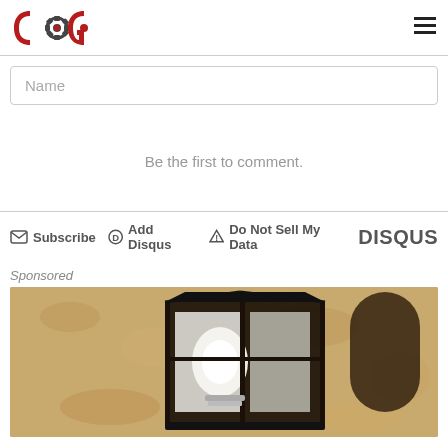COG logo and hamburger menu
Name
Be the first to comment.
Subscribe  Add Disqus  Do Not Sell My Data  DISQUS
Sponsored
[Figure (photo): Close-up photograph of a black iron outdoor wall lantern mounted on a textured stucco wall, with a glowing LED bulb visible inside the glass panels.]